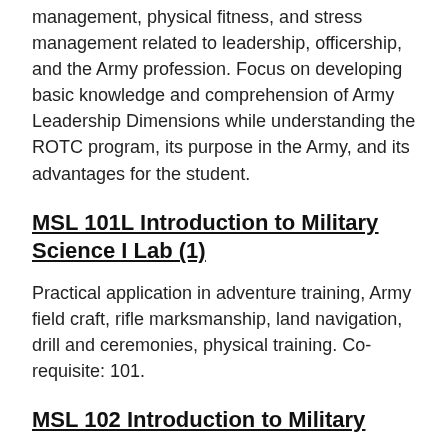management, physical fitness, and stress management related to leadership, officership, and the Army profession. Focus on developing basic knowledge and comprehension of Army Leadership Dimensions while understanding the ROTC program, its purpose in the Army, and its advantages for the student.
MSL 101L Introduction to Military Science I Lab (1)
Practical application in adventure training, Army field craft, rifle marksmanship, land navigation, drill and ceremonies, physical training. Co-requisite: 101.
MSL 102 Introduction to Military